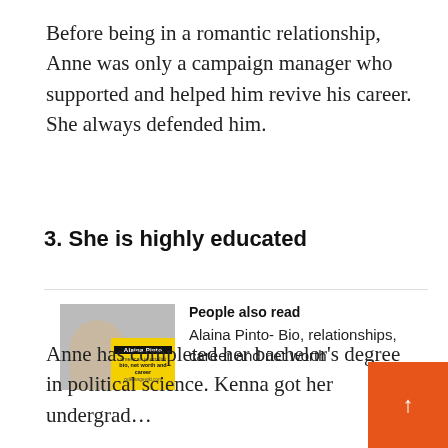Before being in a romantic relationship, Anne was only a campaign manager who supported and helped him revive his career. She always defended him.
3. She is highly educated
[Figure (photo): Thumbnail image of Alaina Pinto with yellow and black graphic overlay showing her name and 'bio, net worth and career']
People also read
Alaina Pinto- Bio, relationships, career and net worth
Anne has completed her bachelor's degree in political science. Kenna got her undergrad…